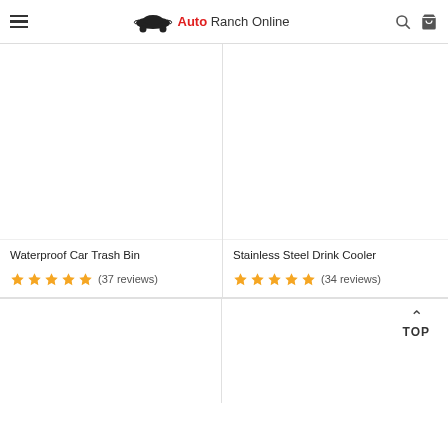Auto Ranch Online
[Figure (screenshot): Waterproof Car Trash Bin product image (white background)]
Waterproof Car Trash Bin
★★★★★ (37 reviews)
[Figure (screenshot): Stainless Steel Drink Cooler product image (white background)]
Stainless Steel Drink Cooler
★★★★★ (34 reviews)
[Figure (screenshot): Product image (partial, bottom row left)]
[Figure (screenshot): Product image (partial, bottom row right) with TOP navigation button]